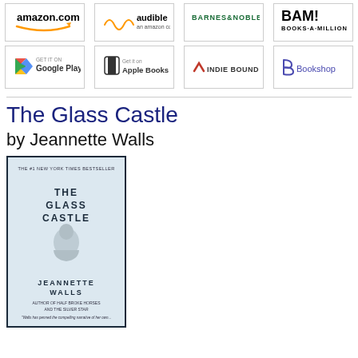[Figure (logo): Row of retailer logos: amazon.com, audible, BARNES & NOBLE, BAM! Books-A-Million]
[Figure (logo): Row of retailer logos: Google Play, Apple Books, IndieBound, Bookshop]
The Glass Castle
by Jeannette Walls
[Figure (photo): Book cover of The Glass Castle by Jeannette Walls — THE #1 NEW YORK TIMES BESTSELLER, THE GLASS CASTLE, JEANNETTE WALLS, AUTHOR OF HALF BROKE HORSES AND THE SILVER STAR]